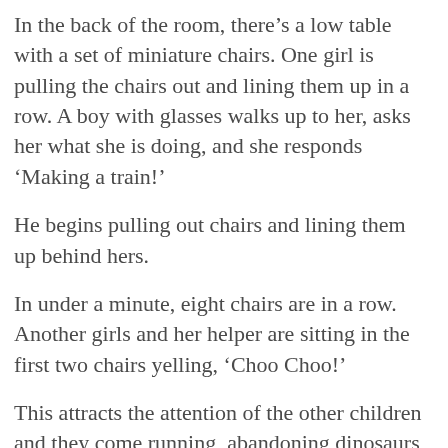In the back of the room, there’s a low table with a set of miniature chairs. One girl is pulling the chairs out and lining them up in a row. A boy with glasses walks up to her, asks her what she is doing, and she responds ‘Making a train!’
He begins pulling out chairs and lining them up behind hers.
In under a minute, eight chairs are in a row. Another girls and her helper are sitting in the first two chairs yelling, ‘Choo Choo!’
This attracts the attention of the other children and they come running, abandoning dinosaurs and books and frilly skirts to join in the train. Pigtail-Girl, who is the bossiest, points her finger at the third chair. “You sit there,” she says to the curious blonde boy, “and he sits there.”